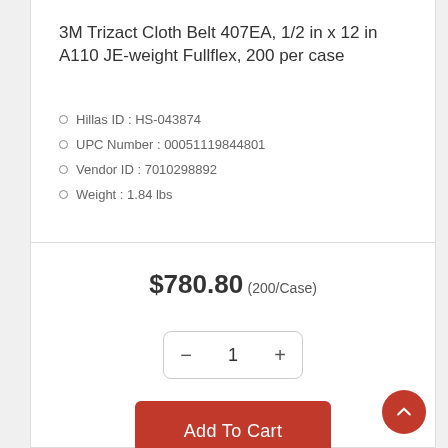3M Trizact Cloth Belt 407EA, 1/2 in x 12 in A110 JE-weight Fullflex, 200 per case
Hillas ID : HS-043874
UPC Number : 00051119844801
Vendor ID : 7010298892
Weight : 1.84 lbs
$780.80 (200/Case)
1
Add To Cart